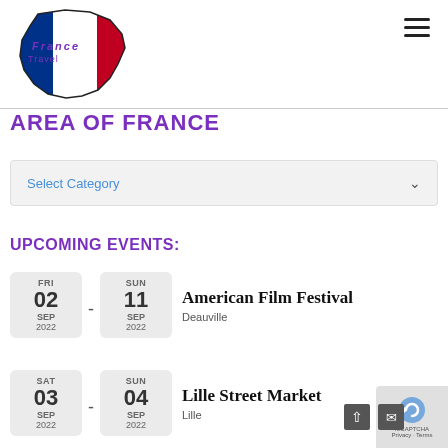[Figure (logo): France map outline with blue, white, and red tricolor flag colors and purple dotted text overlay reading 'France']
AREA OF FRANCE
Select Category
UPCOMING EVENTS:
American Film Festival - FRI 02 SEP 2022 to SUN 11 SEP 2022 - Deauville
Lille Street Market - SAT 03 SEP 2022 to SUN 04 SEP 2022 - Lille